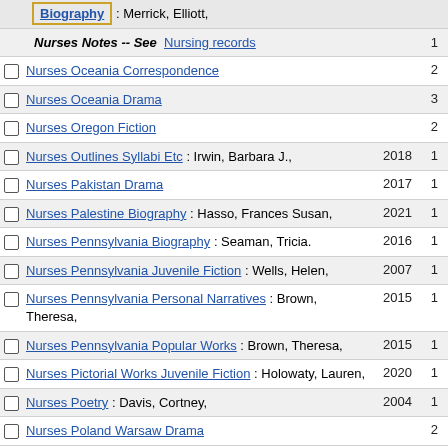Biography : Merrick, Elliott,
Nurses Notes -- See Nursing records
Nurses Oceania Correspondence
Nurses Oceania Drama
Nurses Oregon Fiction
Nurses Outlines Syllabi Etc : Irwin, Barbara J.,
Nurses Pakistan Drama
Nurses Palestine Biography : Hasso, Frances Susan,
Nurses Pennsylvania Biography : Seaman, Tricia.
Nurses Pennsylvania Juvenile Fiction : Wells, Helen,
Nurses Pennsylvania Personal Narratives : Brown, Theresa,
Nurses Pennsylvania Popular Works : Brown, Theresa,
Nurses Pictorial Works Juvenile Fiction : Holowaty, Lauren,
Nurses Poetry : Davis, Cortney,
Nurses Poland Warsaw Drama